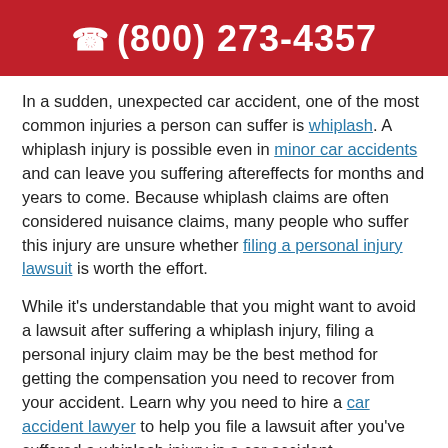☎ (800) 273-4357
In a sudden, unexpected car accident, one of the most common injuries a person can suffer is whiplash. A whiplash injury is possible even in minor car accidents and can leave you suffering aftereffects for months and years to come. Because whiplash claims are often considered nuisance claims, many people who suffer this injury are unsure whether filing a personal injury lawsuit is worth the effort.
While it's understandable that you might want to avoid a lawsuit after suffering a whiplash injury, filing a personal injury claim may be the best method for getting the compensation you need to recover from your accident. Learn why you need to hire a car accident lawyer to help you file a lawsuit after you've suffered a whiplash injury in a car accident.